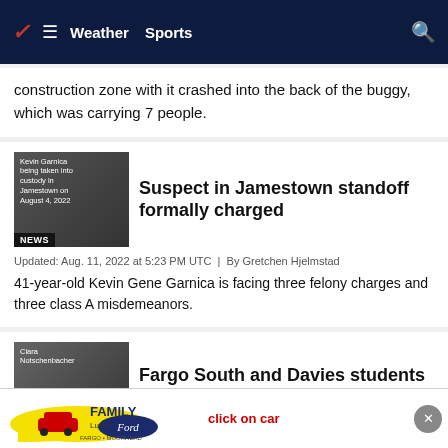Weather | Sports
construction zone with it crashed into the back of the buggy, which was carrying 7 people.
[Figure (photo): Kevin Garnica being taken into custody in Jamestown on August 4, 2022 with NEWS badge overlay]
Suspect in Jamestown standoff formally charged
Updated: Aug. 11, 2022 at 5:23 PM UTC  |  By Gretchen Hjelmstad
41-year-old Kevin Gene Garnica is facing three felony charges and three class A misdemeanors.
[Figure (photo): Clara Notschenbacher photo with NEWS badge overlay]
Fargo South and Davies students team up for athlete battling cancer
Updated:
The t
[Figure (other): Luther Family Ford advertisement banner with car logo and 'click on car' text]